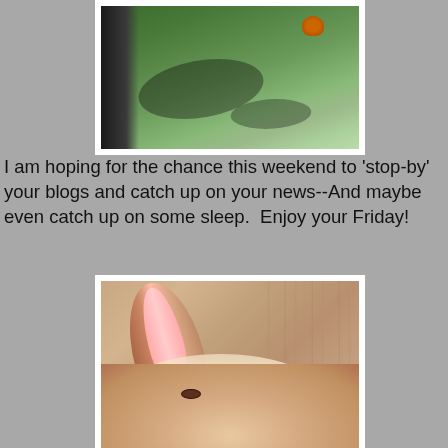[Figure (photo): Photo of a horse leg/fence post with a chicken in the background on grass, viewed from above]
I am hoping for the chance this weekend to 'stop-by' your blogs and catch up on your news--And maybe even catch up on some sleep.  Enjoy your Friday!
[Figure (photo): Close-up photo of a sleeping rabbit's ear and face on a wooden surface]